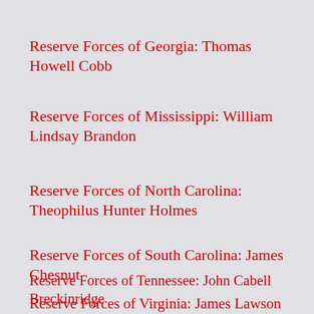Reserve Forces of Georgia: Thomas Howell Cobb
Reserve Forces of Mississippi: William Lindsay Brandon
Reserve Forces of North Carolina: Theophilus Hunter Holmes
Reserve Forces of South Carolina: James Chesnut
Reserve Forces of Tennessee: John Cabell Breckinridge
Reserve Forces of Virginia: James Lawson Kemper